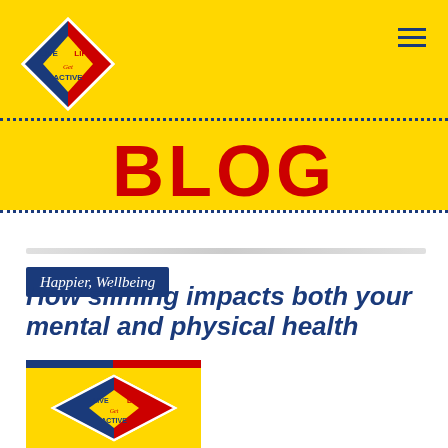[Figure (logo): Live Life Get Active diamond-shaped logo with red, blue and yellow sections on yellow background, top-left of header]
BLOG
Happier, Wellbeing
How sliming impacts both your mental and physical health
[Figure (logo): Live Life Get Active logo thumbnail with blue and red top bar on yellow background]